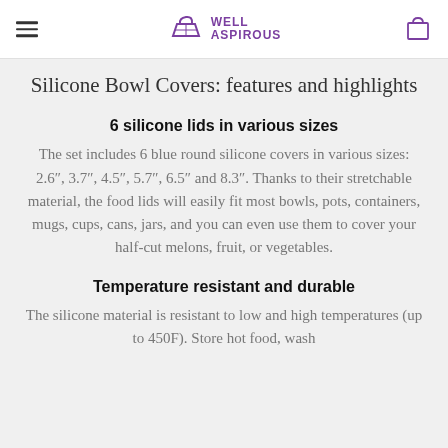Well Aspirous
Silicone Bowl Covers: features and highlights
6 silicone lids in various sizes
The set includes 6 blue round silicone covers in various sizes: 2.6″, 3.7″, 4.5″, 5.7″, 6.5″ and 8.3″. Thanks to their stretchable material, the food lids will easily fit most bowls, pots, containers, mugs, cups, cans, jars, and you can even use them to cover your half-cut melons, fruit, or vegetables.
Temperature resistant and durable
The silicone material is resistant to low and high temperatures (up to 450F). Store hot food, wash